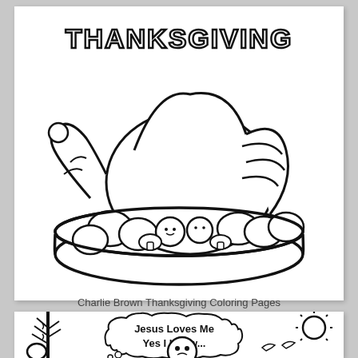[Figure (illustration): Coloring page illustration of a roasted turkey in a roasting pan with vegetables, with 'THANKSGIVING' written in bold decorative letters at the top.]
Charlie Brown Thanksgiving Coloring Pages
[Figure (illustration): Coloring page showing a Charlie Brown character with a thought bubble reading 'Jesus Loves Me Yes I Know...' with a tree on the left and a sun on the right.]